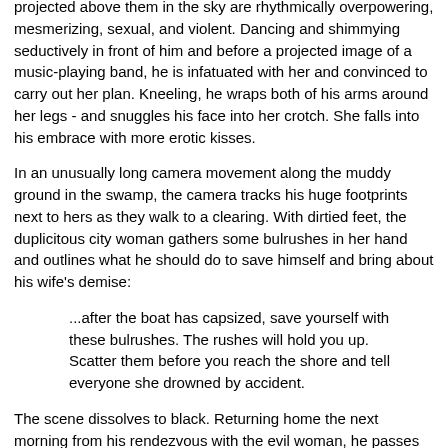projected above them in the sky are rhythmically overpowering, mesmerizing, sexual, and violent. Dancing and shimmying seductively in front of him and before a projected image of a music-playing band, he is infatuated with her and convinced to carry out her plan. Kneeling, he wraps both of his arms around her legs - and snuggles his face into her crotch. She falls into his embrace with more erotic kisses.
In an unusually long camera movement along the muddy ground in the swamp, the camera tracks his huge footprints next to hers as they walk to a clearing. With dirtied feet, the duplicitous city woman gathers some bulrushes in her hand and outlines what he should do to save himself and bring about his wife's demise:
...after the boat has capsized, save yourself with these bulrushes. The rushes will hold you up. Scatter them before you reach the shore and tell everyone she drowned by accident.
The scene dissolves to black. Returning home the next morning from his rendezvous with the evil woman, he passes fishnets blowing in the wind - symbolic of the web of entrapment enveloping him. He secretly stashes the bulrushes in a barn after a horse violently nuzzles him. Sneaking stealthily to his bed, he lies down as if drugged. As he falls asleep exhausted, he sleeps fitfully while consumed and obsessed with his murderous plot. He imagines water flowing over him in a super-imposed image - the water in